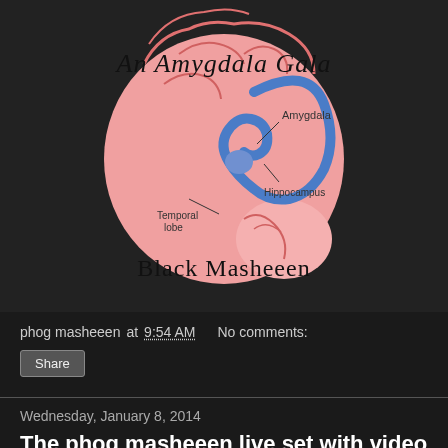[Figure (illustration): Album art for 'An Amygdala Gala' by Black Masheeen. Shows a pink brain diagram with labeled parts: Amygdala, Temporal lobe, Hippocampus. Blue curved structure overlaid. Text reads 'An Amygdala Gala' at top and 'Black Masheeen' at bottom in handwritten/marker style font.]
phog masheeen at 9:54 AM   No comments:
Share
Wednesday, January 8, 2014
The phog masheeen live set with video from Santa Ana Noise fest now posted!